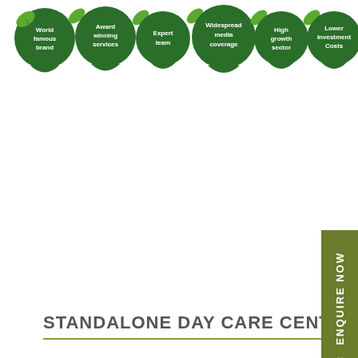[Figure (illustration): Row of six green leaf-shaped speech bubble icons with white text labels: 'World famous brand', 'Award winning services', 'Expert team', 'Widespread media coverage', 'High growth sector', 'Lower Investment Costs'. Each bubble has a small decorative leaf graphic.]
[Figure (infographic): Left vertical orange sidebar tab with double chevron arrows and rotated text 'Please click here', with a red X button at top right of tab]
[Figure (infographic): Right vertical olive-green sidebar with rotated white text 'ENQUIRE NOW' and double back-arrow icon]
STANDALONE DAY CARE CENTRE